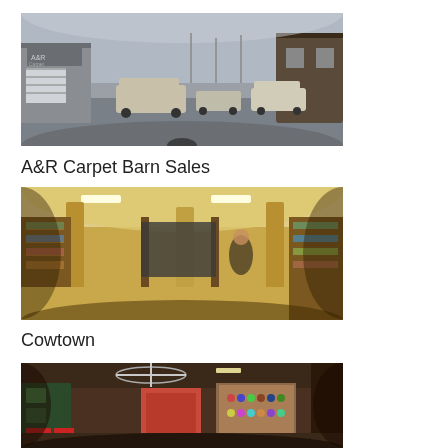[Figure (photo): 360-degree panoramic photograph of A&R Carpet Barn Sales exterior, showing a commercial building with snow on the ground and several parked vehicles including trucks and SUVs.]
A&R Carpet Barn Sales
[Figure (photo): 360-degree panoramic photograph of Cowtown store interior, showing a retail shop with merchandise displays, shelving units with products, and customers browsing.]
Cowtown
[Figure (photo): 360-degree panoramic photograph of a retail store interior with ceiling fan, display boards on walls, and product displays.]